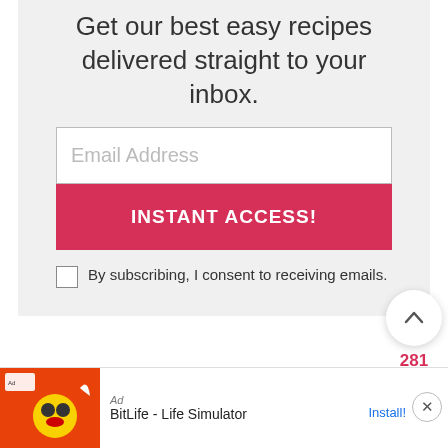Get our best easy recipes delivered straight to your inbox.
Email Address
INSTANT ACCESS!
By subscribing, I consent to receiving emails.
281
[Figure (screenshot): Ad banner for BitLife - Life Simulator app with Install button and close button]
BitLife - Life Simulator
Install!